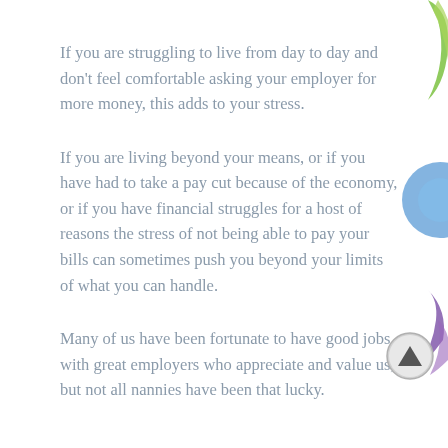If you are struggling to live from day to day and don't feel comfortable asking your employer for more money, this adds to your stress.
If you are living beyond your means, or if you have had to take a pay cut because of the economy, or if you have financial struggles for a host of reasons the stress of not being able to pay your bills can sometimes push you beyond your limits of what you can handle.
Many of us have been fortunate to have good jobs, with great employers who appreciate and value us, but not all nannies have been that lucky.